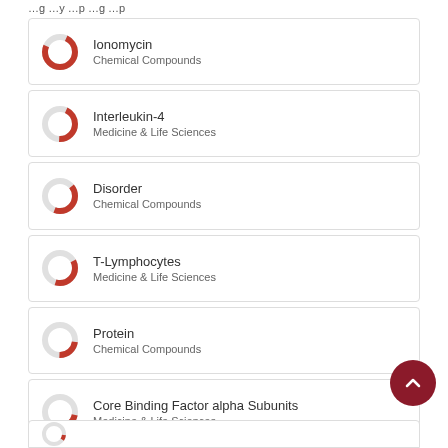...g ...y ...p ...g ...p
Ionomycin
Chemical Compounds
Interleukin-4
Medicine & Life Sciences
Disorder
Chemical Compounds
T-Lymphocytes
Medicine & Life Sciences
Protein
Chemical Compounds
Core Binding Factor alpha Subunits
Medicine & Life Sciences